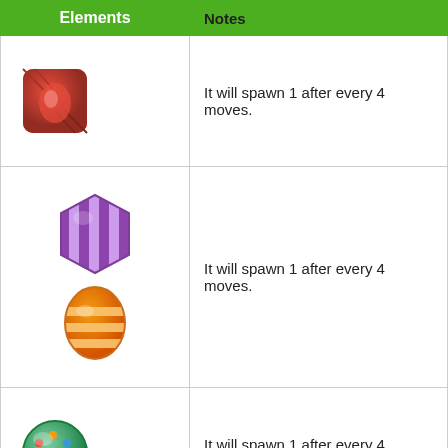| Elements | Notes |
| --- | --- |
| [red candy icon] | It will spawn 1 after every 4 moves. |
| [purple striped candy icon] [orange striped egg icon] | It will spawn 1 after every 4 moves. |
| [colorful dotted ball icon] | It will spawn 1 after every 4 moves. |
| [green snail icon] | If there are fewer than 7 candy bombs on |